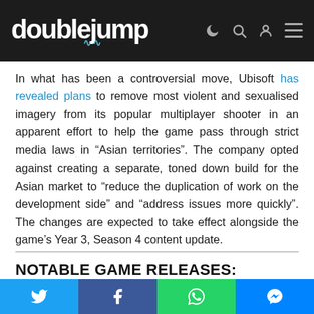doublejump [logo with navigation icons]
In what has been a controversial move, Ubisoft has revealed plans to remove most violent and sexualised imagery from its popular multiplayer shooter in an apparent effort to help the game pass through strict media laws in “Asian territories”. The company opted against creating a separate, toned down build for the Asian market to “reduce the duplication of work on the development side” and “address issues more quickly”. The changes are expected to take effect alongside the game’s Year 3, Season 4 content update.
NOTABLE GAME RELEASES:
Social share bar: Twitter, Facebook, WhatsApp, Messenger